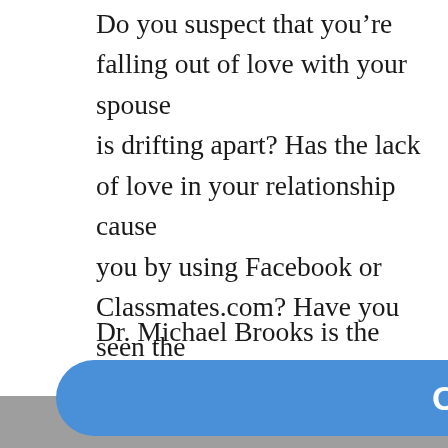Do you suspect that you're falling out of love with your spouse is drifting apart? Has the lack of love in your relationship caused you by using Facebook or Classmates.com? Have you seen the excessively or on the computer? Do you need help in confronting behavior? If you answered yes to any of these questions, you need an appointment. Don't allow an old love to destroy your relationship threatened by or has ended because of a social media affair and need help in overcoming the pain you're going through, please can help you. He has helped several people through the process social media infidelity.
Dr. Michael Brooks is the founder of Applicable Counseling and affordable, accessible, anonymous and available by appointment avoid travel time and the comfort of home, many clients prefer phone or via Skype (if you want to Skype with Dr. Mike send h mbrooks3353@gmail.com to set up an appointment). The conve oach